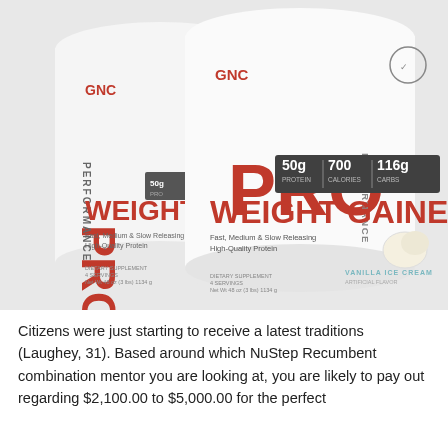[Figure (photo): Two white GNC Pro Performance Weight Gainer supplement containers. Both show red GNC logo, large red PRO text vertically, PERFORMANCE text vertically, and WEIGHT GAINER in large red letters. The front container shows 50g Protein, 700 Calories, 116g Carbs stats in a dark banner, and Vanilla Ice Cream flavor label. Small text: Fast, Medium & Slow Releasing High-Quality Protein. Dietary Supplement, 4 Servings, Net Wt 48 oz (3 lbs) 1134g.]
Citizens were just starting to receive a latest traditions (Laughey, 31). Based around which NuStep Recumbent combination mentor you are looking at, you are likely to pay out regarding $2,100.00 to $5,000.00 for the perfect